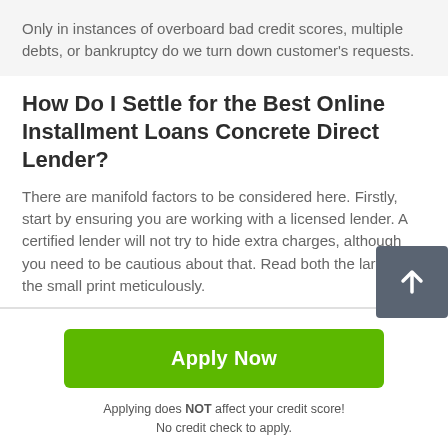Only in instances of overboard bad credit scores, multiple debts, or bankruptcy do we turn down customer's requests.
How Do I Settle for the Best Online Installment Loans Concrete Direct Lender?
There are manifold factors to be considered here. Firstly, start by ensuring you are working with a licensed lender. A certified lender will not try to hide extra charges, although you need to be cautious about that. Read both the large and the small print meticulously.
[Figure (other): Green 'Apply Now' button]
Applying does NOT affect your credit score!
No credit check to apply.